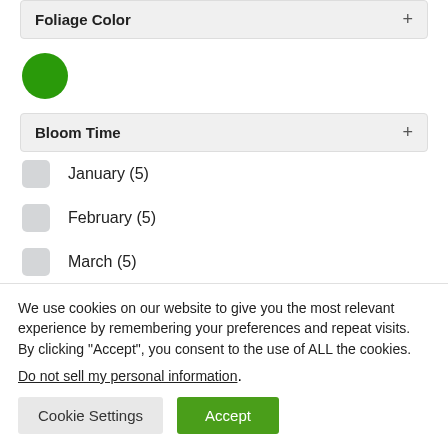Foliage Color
[Figure (illustration): A filled green circle color swatch representing foliage color green]
Bloom Time
January (5)
February (5)
March (5)
Growth Habit
We use cookies on our website to give you the most relevant experience by remembering your preferences and repeat visits. By clicking “Accept”, you consent to the use of ALL the cookies.
Do not sell my personal information.